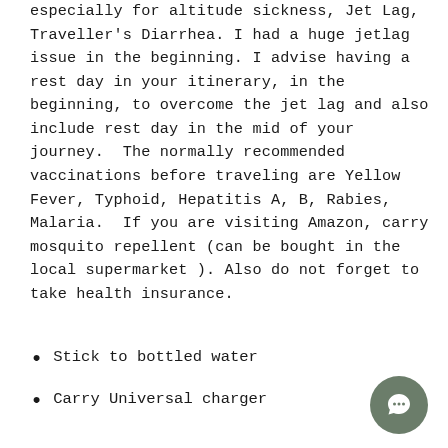especially for altitude sickness, Jet Lag, Traveller's Diarrhea. I had a huge jetlag issue in the beginning. I advise having a rest day in your itinerary, in the beginning, to overcome the jet lag and also include rest day in the mid of your journey.  The normally recommended vaccinations before traveling are Yellow Fever, Typhoid, Hepatitis A, B, Rabies,  Malaria.  If you are visiting Amazon, carry mosquito repellent (can be bought in the local supermarket ). Also do not forget to take health insurance.
Stick to bottled water
Carry Universal charger